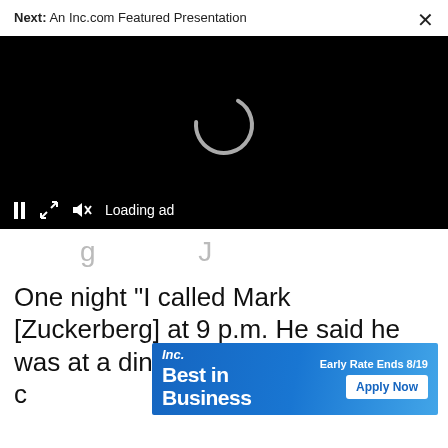Next: An Inc.com Featured Presentation
[Figure (screenshot): Video player with black background, loading spinner (partial circle arc in white/grey), and bottom controls showing pause icon, expand icon, muted speaker icon, and 'Loading ad' text]
g        J
One night "I called Mark [Zuckerberg] at 9 p.m. He said he was at a dinner and asked if he c                                              for
[Figure (screenshot): Inc. Best in Business advertisement banner with blue gradient background. Left side shows 'Inc.' in italic bold and 'Best in Business' in large bold white text. Right side shows 'Early Rate Ends 8/19' and 'Apply Now' button in white.]